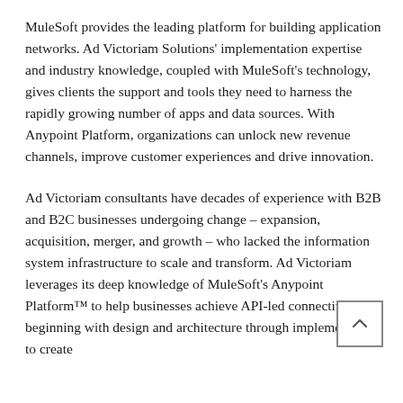MuleSoft provides the leading platform for building application networks. Ad Victoriam Solutions' implementation expertise and industry knowledge, coupled with MuleSoft's technology, gives clients the support and tools they need to harness the rapidly growing number of apps and data sources. With Anypoint Platform, organizations can unlock new revenue channels, improve customer experiences and drive innovation.
Ad Victoriam consultants have decades of experience with B2B and B2C businesses undergoing change – expansion, acquisition, merger, and growth – who lacked the information system infrastructure to scale and transform. Ad Victoriam leverages its deep knowledge of MuleSoft's Anypoint Platform™ to help businesses achieve API-led connectivity, beginning with design and architecture through implementation to create